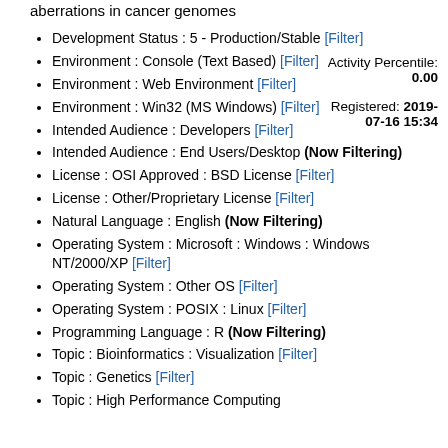aberrations in cancer genomes
Activity Percentile: 0.00
Registered: 2019-07-16 15:34
Development Status : 5 - Production/Stable [Filter]
Environment : Console (Text Based) [Filter]
Environment : Web Environment [Filter]
Environment : Win32 (MS Windows) [Filter]
Intended Audience : Developers [Filter]
Intended Audience : End Users/Desktop (Now Filtering)
License : OSI Approved : BSD License [Filter]
License : Other/Proprietary License [Filter]
Natural Language : English (Now Filtering)
Operating System : Microsoft : Windows : Windows NT/2000/XP [Filter]
Operating System : Other OS [Filter]
Operating System : POSIX : Linux [Filter]
Programming Language : R (Now Filtering)
Topic : Bioinformatics : Visualization [Filter]
Topic : Genetics [Filter]
Topic : High Performance Computing